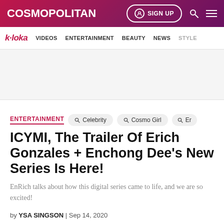COSMOPOLITAN | SIGN UP
k·loka | VIDEOS | ENTERTAINMENT | BEAUTY | NEWS | STYLE
[Figure (other): Advertisement placeholder area, light grey background]
ENTERTAINMENT
ICYMI, The Trailer Of Erich Gonzales + Enchong Dee's New Series Is Here!
EnRich talks about how this digital series came to life, and we are so excited!
by YSA SINGSON | Sep 14, 2020